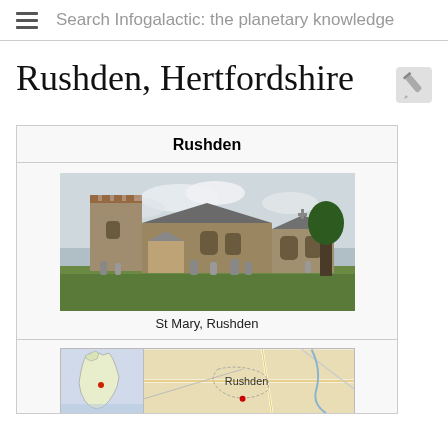Search Infogalactic: the planetary knowledge
Rushden, Hertfordshire
Rushden
[Figure (photo): Photograph of St Mary church in Rushden, showing stone church building with tower, Gothic windows, and graveyard with headstones in foreground]
St Mary, Rushden
[Figure (map): Composite map showing location of Rushden: small UK overview map on the left and a local area map on the right with Rushden labeled]